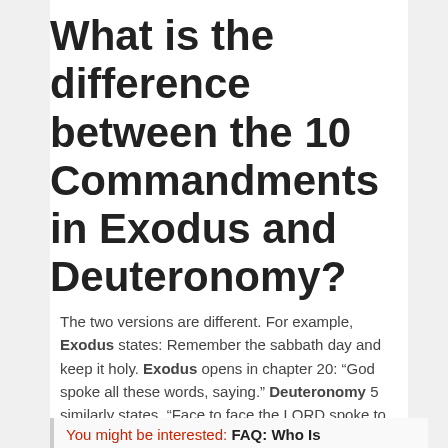What is the difference between the 10 Commandments in Exodus and Deuteronomy?
The two versions are different. For example, Exodus states: Remember the sabbath day and keep it holy. Exodus opens in chapter 20: “God spoke all these words, saying.” Deuteronomy 5 similarly states, “Face to face the LORD spoke to you on the mountain out of the fire.”
You might be interested: FAQ: Who Is